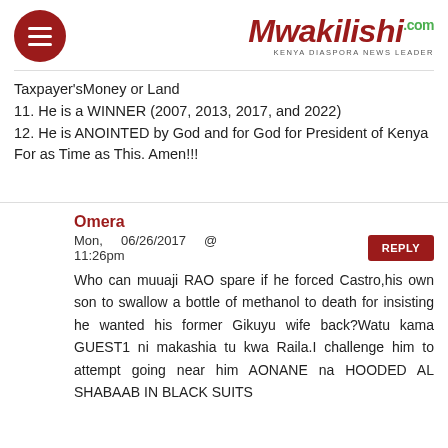Mwakilishi.com — Kenya Diaspora News Leader
Taxpayer'sMoney or Land
11. He is a WINNER (2007, 2013, 2017, and 2022)
12. He is ANOINTED by God and for God for President of Kenya For as Time as This. Amen!!!
Omera
Mon, 06/26/2017 @ 11:26pm
Who can muuaji RAO spare if he forced Castro,his own son to swallow a bottle of methanol to death for insisting he wanted his former Gikuyu wife back?Watu kama GUEST1 ni makashia tu kwa Raila.I challenge him to attempt going near him AONANE na HOODED AL SHABAAB IN BLACK SUITS